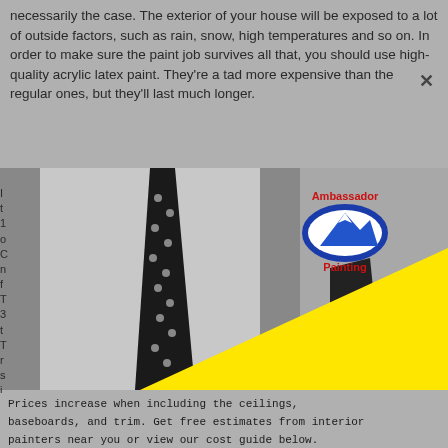necessarily the case. The exterior of your house will be exposed to a lot of outside factors, such as rain, snow, high temperatures and so on. In order to make sure the paint job survives all that, you should use high-quality acrylic latex paint. They're a tad more expensive than the regular ones, but they'll last much longer.
[Figure (photo): Black and white photo of a man in a suit and polka-dot tie with pocket square, overlaid with a large yellow triangle in the bottom-right area. Ambassador Painting logo visible on the suit.]
Prices increase when including the ceilings, baseboards, and trim. Get free estimates from interior painters near you or view our cost guide below. Painting exterior windows depend on the size of the window and the